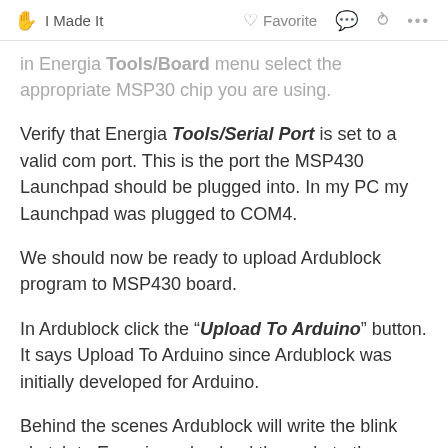I Made It   Favorite   ...
in Energia Tools/Board menu select the appropriate MSP30 chip you are using.
Verify that Energia Tools/Serial Port is set to a valid com port. This is the port the MSP430 Launchpad should be plugged into. In my PC my Launchpad was plugged to COM4.
We should now be ready to upload Ardublock program to MSP430 board.
In Ardublock click the "Upload To Arduino" button. It says Upload To Arduino since Ardublock was initially developed for Arduino.
Behind the scenes Ardublock will write the blink sketch to Energia and upload the code to the MSP320